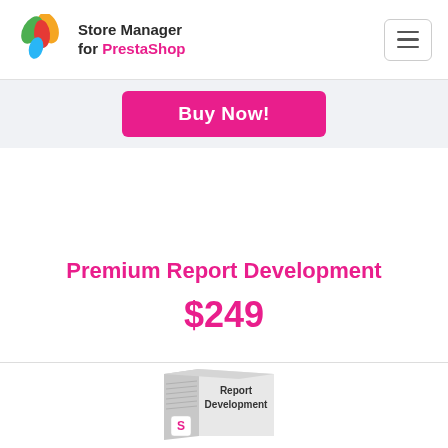Store Manager for PrestaShop
Buy Now!
Premium Report Development
$249
[Figure (illustration): Product box illustration showing 'Report Development' with an 'S' logo on the spine]